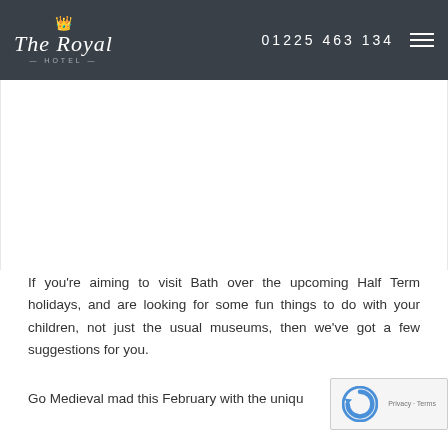The Royal Hotel | 01225 463 134
If you're aiming to visit Bath over the upcoming Half Term holidays, and are looking for some fun things to do with your children, not just the usual museums, then we've got a few suggestions for you.
Go Medieval mad this February with the unique...